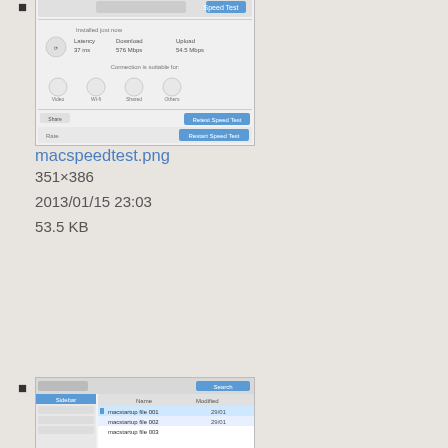[Figure (screenshot): Thumbnail screenshot of macspeedtest.png showing a network speed test application interface]
macspeedtest.png
351×386
2013/01/15 23:03
53.5 KB
[Figure (screenshot): Thumbnail screenshot of macstartup.jpg showing a Mac application window with a file/list interface]
macstartup.jpg
610×461
2016/01/29 22:24
58 KB
[Figure (screenshot): Thumbnail screenshot of macui.png showing a Mac UI options panel]
macui.png
704×420
2013/01/16 00:28